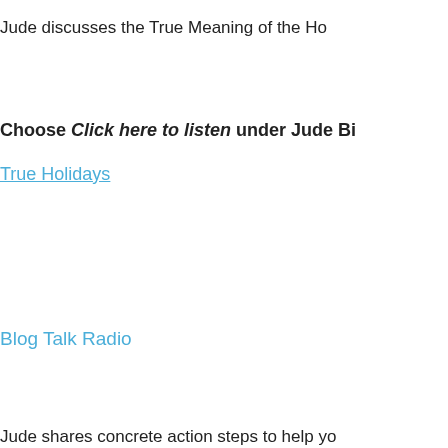Jude discusses the True Meaning of the Ho...
Choose Click here to listen under Jude Bi...
True Holidays
Blog Talk Radio
Jude shares concrete action steps to help yo... come up in the holiday season. December 1...
Find it online!
Being a Psychotherapist
Blog Talk Radio